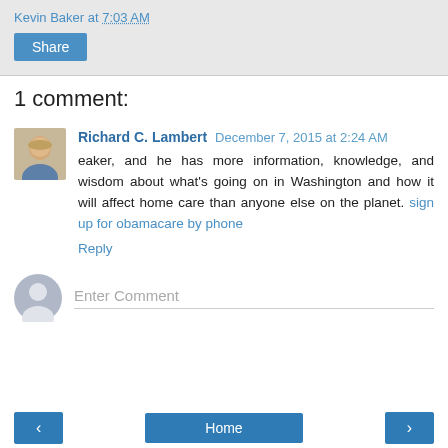Kevin Baker at 7:03 AM
Share
1 comment:
Richard C. Lambert December 7, 2015 at 2:24 AM
eaker, and he has more information, knowledge, and wisdom about what's going on in Washington and how it will affect home care than anyone else on the planet. sign up for obamacare by phone
Reply
Enter Comment
< Home >